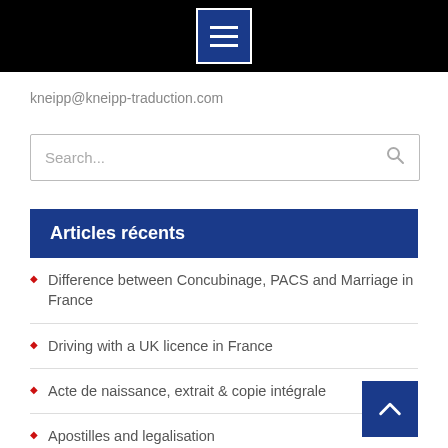[Figure (screenshot): Black navigation bar with dark blue hamburger menu button (three white horizontal lines)]
kneipp@kneipp-traduction.com
[Figure (other): Search input box with placeholder text 'Search...' and a magnifying glass icon]
Articles récents
Difference between Concubinage, PACS and Marriage in France
Driving with a UK licence in France
Acte de naissance, extrait & copie intégrale
Apostilles and legalisation
W...e?
[Figure (other): Dark popup overlay showing French flag icon and the text 'French']